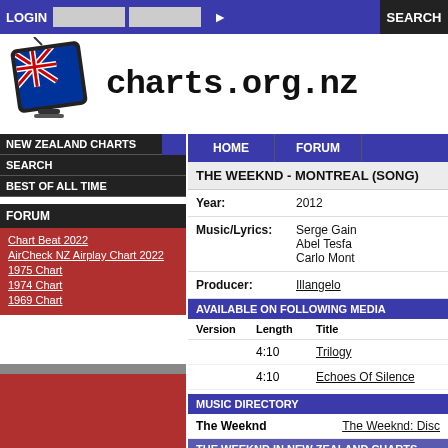LOGIN  Register  SEARCH
charts.org.nz
NEW ZEALAND CHARTS
SEARCH
BEST OF ALL TIME
FORUM
Chart Beat 2022
AirCheck NZ Airplay Chart 2022
1975 Chart
1974 Chart
1969 Chart
HOME  FORUM
THE WEEKND - MONTREAL (SONG)
| Year: | 2012 |
| Music/Lyrics: | Serge Gain
Abel Tesfa
Carlo Mont |
| Producer: | Illangelo |
AVAILABLE ON FOLLOWING MEDIA
| Version | Length | Title |
| --- | --- | --- |
|  | 4:10 | Trilogy |
|  | 4:10 | Echoes Of Silence |
MUSIC DIRECTORY
| The Weeknd | The Weeknd: Disc |
THE WEEKND IN NEW ZEALAND CHARTS
Singles
Title